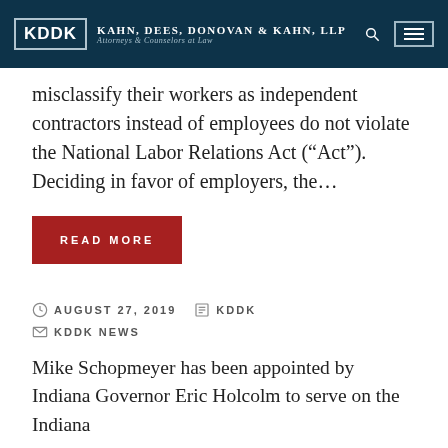KDDK | Kahn, Dees, Donovan & Kahn, LLP | Attorneys & Counselors at Law
misclassify their workers as independent contractors instead of employees do not violate the National Labor Relations Act (“Act”). Deciding in favor of employers, the…
READ MORE
AUGUST 27, 2019 | KDDK | KDDK NEWS
Mike Schopmeyer has been appointed by Indiana Governor Eric Holcolm to serve on the Indiana